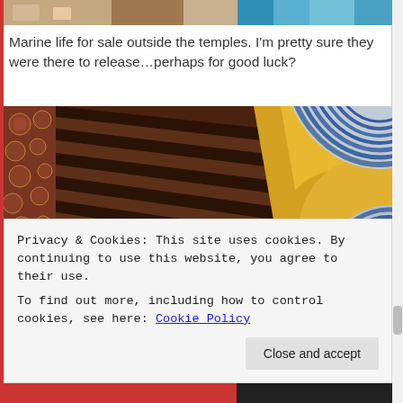[Figure (photo): Partial view of colorful items (marine life for sale) outside a temple, with blue and other colors visible]
Marine life for sale outside the temples.  I'm pretty sure they were there to release…perhaps for good luck?
[Figure (photo): Interior of a Thai Buddhist temple showing a large golden reclining Buddha statue with blue-ringed head ornaments, and ornate wooden ceiling receding into the background]
Privacy & Cookies: This site uses cookies. By continuing to use this website, you agree to their use.
To find out more, including how to control cookies, see here: Cookie Policy